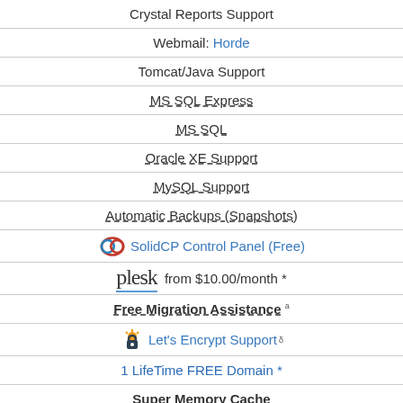Crystal Reports Support
Webmail: Horde
Tomcat/Java Support
MS SQL Express
MS SQL
Oracle XE Support
MySQL Support
Automatic Backups (Snapshots)
SolidCP Control Panel (Free)
plesk  from $10.00/month *
Free Migration Assistance
Let's Encrypt Support
1 LifeTime FREE Domain *
Super Memory Cache
More Featu...
LIVE HELP